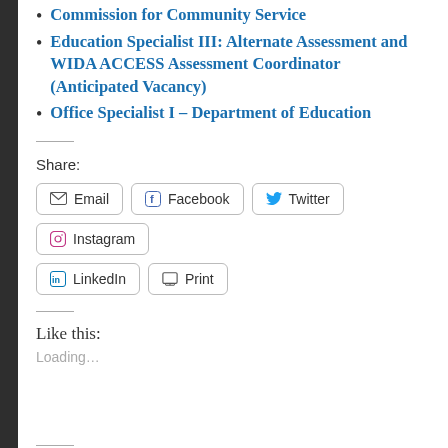Commission for Community Service
Education Specialist III: Alternate Assessment and WIDA ACCESS Assessment Coordinator (Anticipated Vacancy)
Office Specialist I – Department of Education
Share:
Email  Facebook  Twitter  Instagram  LinkedIn  Print
Like this:
Loading...